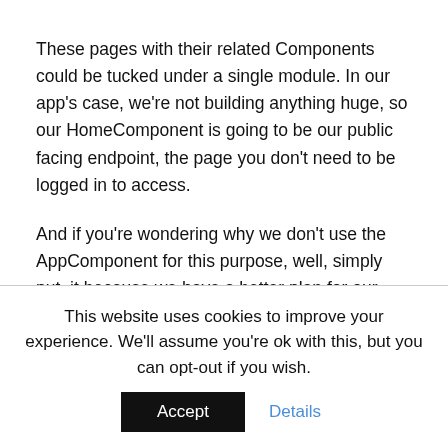These pages with their related Components could be tucked under a single module. In our app's case, we're not building anything huge, so our HomeComponent is going to be our public facing endpoint, the page you don't need to be logged in to access.
And if you're wondering why we don't use the AppComponent for this purpose, well, simply put, it because we have a better plan for our AppComponent guy. Just like the
Just like the <root-app></root-app> is the entry point to our entire project, app.component.html will, in turn, be the entry
This website uses cookies to improve your experience. We'll assume you're ok with this, but you can opt-out if you wish.